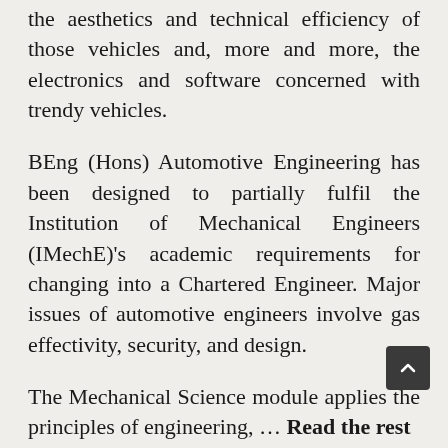the aesthetics and technical efficiency of those vehicles and, more and more, the electronics and software concerned with trendy vehicles.
BEng (Hons) Automotive Engineering has been designed to partially fulfil the Institution of Mechanical Engineers (IMechE)'s academic requirements for changing into a Chartered Engineer. Major issues of automotive engineers involve gas effectivity, security, and design.
The Mechanical Science module applies the principles of engineering, ... Read the rest